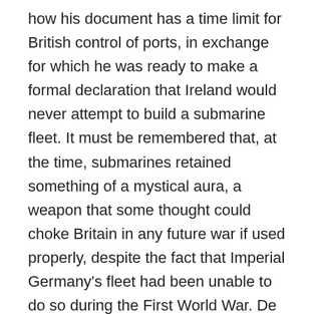how his document has a time limit for British control of ports, in exchange for which he was ready to make a formal declaration that Ireland would never attempt to build a submarine fleet. It must be remembered that, at the time, submarines retained something of a mystical aura, a weapon that some thought could choke Britain in any future war if used properly, despite the fact that Imperial Germany's fleet had been unable to do so during the First World War. De Valera was pitching “Document No 2” as a viable alternative to the Treaty, but, as would be said on multiple occasions during the debates, the discussion was on ratification or rejection of the Treaty, not whether one of two documents would be ratified: Eoin O’Neill, the speaker, left his chair to give a lengthy riposte on that very topic.
Soon Milroy rose later. He warned those present not to